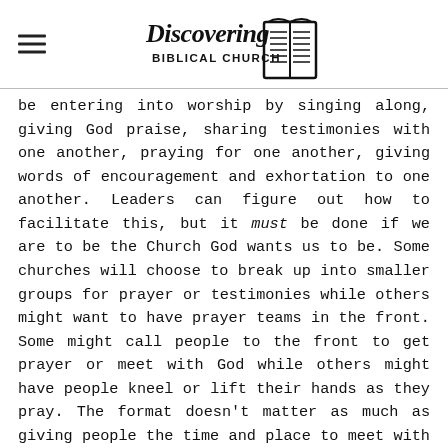Discovering Biblical Church
be entering into worship by singing along, giving God praise, sharing testimonies with one another, praying for one another, giving words of encouragement and exhortation to one another. Leaders can figure out how to facilitate this, but it must be done if we are to be the Church God wants us to be. Some churches will choose to break up into smaller groups for prayer or testimonies while others might want to have prayer teams in the front. Some might call people to the front to get prayer or meet with God while others might have people kneel or lift their hands as they pray. The format doesn't matter as much as giving people the time and place to meet with God and with one another.
The same principle applies to our teaching times as